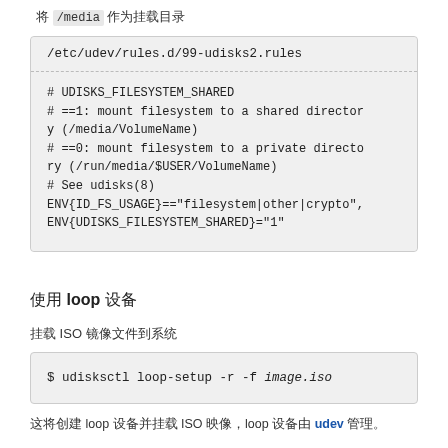将 /media 作为挂载目录
/etc/udev/rules.d/99-udisks2.rules
# UDISKS_FILESYSTEM_SHARED
# ==1: mount filesystem to a shared directory (/media/VolumeName)
# ==0: mount filesystem to a private directory (/run/media/$USER/VolumeName)
# See udisks(8)
ENV{ID_FS_USAGE}=="filesystem|other|crypto",
ENV{UDISKS_FILESYSTEM_SHARED}="1"
使用 loop 设备
挂载 ISO 镜像文件到系统
$ udisksctl loop-setup -r -f image.iso
这将创建 loop 设备并挂载 ISO 映像，loop 设备由 udev 管理。